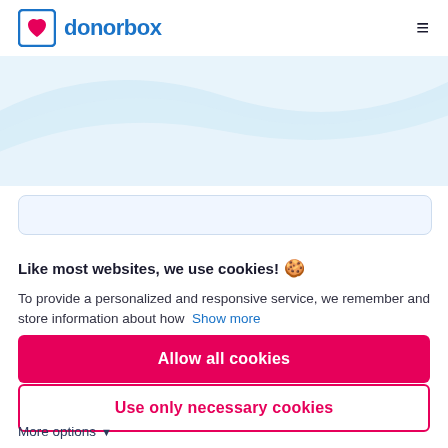donorbox
[Figure (illustration): Light blue wave/curve decorative background element below the header navigation bar]
Like most websites, we use cookies!
To provide a personalized and responsive service, we remember and store information about how  Show more
Allow all cookies
Use only necessary cookies
More options